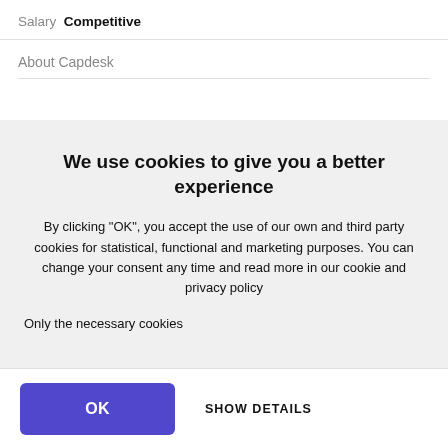Salary Competitive
About Capdesk
We use cookies to give you a better experience
By clicking "OK", you accept the use of our own and third party cookies for statistical, functional and marketing purposes. You can change your consent any time and read more in our cookie and privacy policy
Only the necessary cookies
OK
SHOW DETAILS